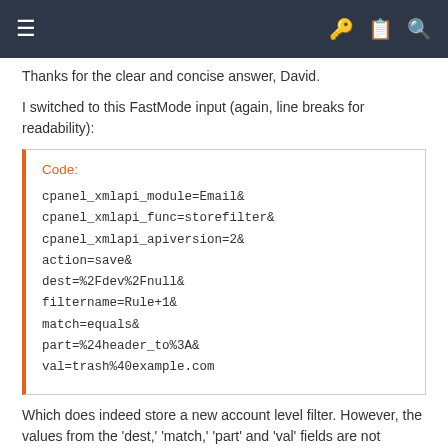≡  🔑 📋 🔍
Thanks for the clear and concise answer, David.
I switched to this FastMode input (again, line breaks for readability):
Code:
cpanel_xmlapi_module=Email&
cpanel_xmlapi_func=storefilter&
cpanel_xmlapi_apiversion=2&
action=save&
dest=%2Fdev%2Fnull&
filtername=Rule+1&
match=equals&
part=%24header_to%3A&
val=trash%40example.com
Which does indeed store a new account level filter. However, the values from the 'dest,' 'match,' 'part' and 'val' fields are not stored. The only value that does seem to be stored is the 'filtername'.